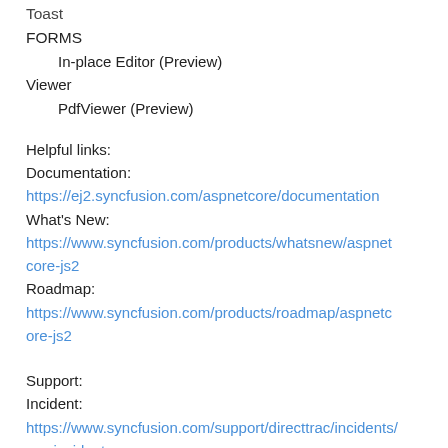Toast
FORMS
In-place Editor (Preview)
Viewer
PdfViewer (Preview)
Helpful links:
Documentation:
https://ej2.syncfusion.com/aspnetcore/documentation
What's New:
https://www.syncfusion.com/products/whatsnew/aspnetcore-js2
Roadmap:
https://www.syncfusion.com/products/roadmap/aspnetcore-js2
Support:
Incident:
https://www.syncfusion.com/support/directtrac/incidents/newincident